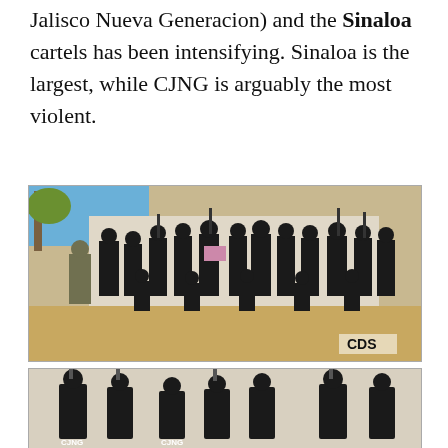Jalisco Nueva Generacion) and the Sinaloa cartels has been intensifying. Sinaloa is the largest, while CJNG is arguably the most violent.
[Figure (photo): Group of armed individuals dressed in black tactical gear posing in front of a white wall outdoors. Label 'CDS' appears in bottom right corner.]
[Figure (photo): Group of armed masked individuals in black clothing with 'CJNG' text visible on their shirts, posing with weapons raised.]